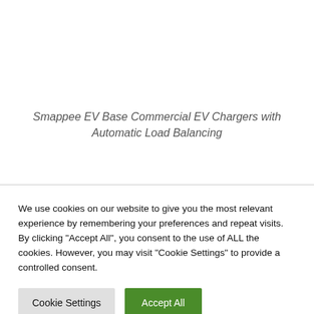Smappee EV Base Commercial EV Chargers with Automatic Load Balancing
We use cookies on our website to give you the most relevant experience by remembering your preferences and repeat visits. By clicking "Accept All", you consent to the use of ALL the cookies. However, you may visit "Cookie Settings" to provide a controlled consent.